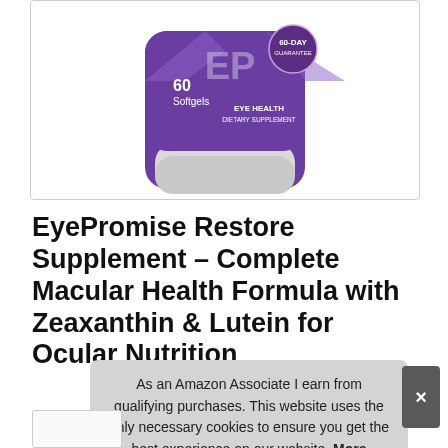[Figure (photo): Product bottle of EyePromise Restore – 60 Softgels, Eye Health Dietary Supplement in a purple bottle, shown from front, partially cropped at top, inside a white bordered box.]
EyePromise Restore Supplement – Complete Macular Health Formula with Zeaxanthin & Lutein for Ocular Nutrition
#ad
As an Amazon Associate I earn from qualifying purchases. This website uses the only necessary cookies to ensure you get the best experience on our website. More information